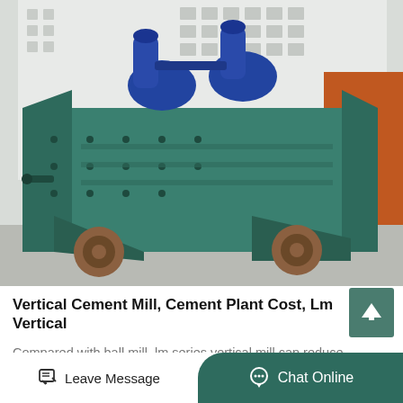[Figure (photo): Industrial green-painted vibrating screening machine with two blue electric motors on top, mounted on wheels, photographed in an outdoor factory yard. The machine has a large rectangular body with angled side panels, bolted metal construction, and sits on brown/rust-colored wheels on a concrete surface. An orange structure and a white building are visible in the background.]
Vertical Cement Mill, Cement Plant Cost, Lm Vertical
Compared with ball mill, lm series vertical mill can reduce energy consumption 30 to 40, lo
Leave Message
Chat Online